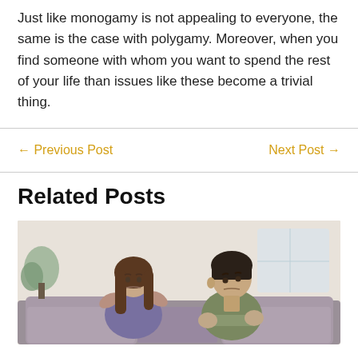Just like monogamy is not appealing to everyone, the same is the case with polygamy. Moreover, when you find someone with whom you want to spend the rest of your life than issues like these become a trivial thing.
← Previous Post
Next Post →
Related Posts
[Figure (photo): A couple sitting on a couch looking upset, not facing each other. The woman on the left has long brown hair and is wearing a purple top; the man on the right has dark hair and is wearing an olive green shirt.]